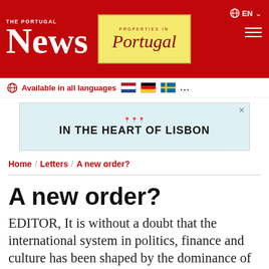THE PORTUGAL News | Properties in Portugal | EN
Available in all languages 🇳🇱 🇩🇪 🇸🇪 ...
[Figure (infographic): Advertisement banner showing a map with location pins and text IN THE HEART OF LISBON]
Home / Letters / A new order?
A new order?
EDITOR, It is without a doubt that the international system in politics, finance and culture has been shaped by the dominance of the